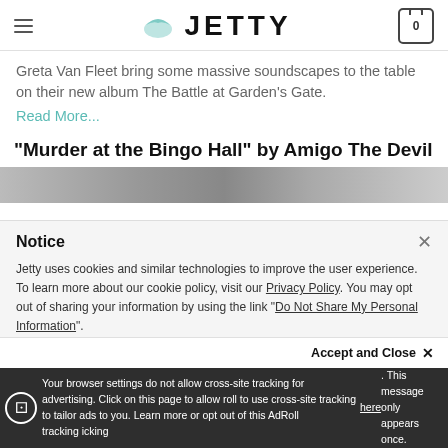JETTY (navigation bar with hamburger menu and cart icon showing 0)
Greta Van Fleet bring some massive soundscapes to the table on their new album The Battle at Garden's Gate. Read More...
"Murder at the Bingo Hall" by Amigo The Devil
[Figure (photo): Grayscale photo strip of a person, partially visible]
Notice
Jetty uses cookies and similar technologies to improve the user experience. To learn more about our cookie policy, visit our Privacy Policy. You may opt out of sharing your information by using the link "Do Not Share My Personal Information".
Accept and Close ×
Your browser settings do not allow cross-site tracking for advertising. Click on this page to allow roll to use cross-site tracking to tailor ads to you. Learn more or opt out of this AdRoll tracking icking here. This message only appears once.